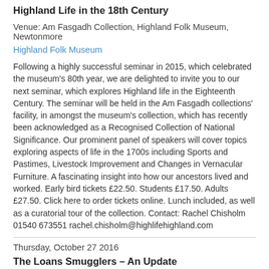Highland Life in the 18th Century
Venue: Am Fasgadh Collection, Highland Folk Museum, Newtonmore
Highland Folk Museum
Following a highly successful seminar in 2015, which celebrated the museum's 80th year, we are delighted to invite you to our next seminar, which explores Highland life in the Eighteenth Century. The seminar will be held in the Am Fasgadh collections' facility, in amongst the museum's collection, which has recently been acknowledged as a Recognised Collection of National Significance. Our prominent panel of speakers will cover topics exploring aspects of life in the 1700s including Sports and Pastimes, Livestock Improvement and Changes in Vernacular Furniture. A fascinating insight into how our ancestors lived and worked. Early bird tickets £22.50. Students £17.50. Adults £27.50. Click here to order tickets online. Lunch included, as well as a curatorial tour of the collection. Contact: Rachel Chisholm 01540 673551 rachel.chisholm@highlifehighland.com
Thursday, October 27 2016
The Loans Smugglers – An Update